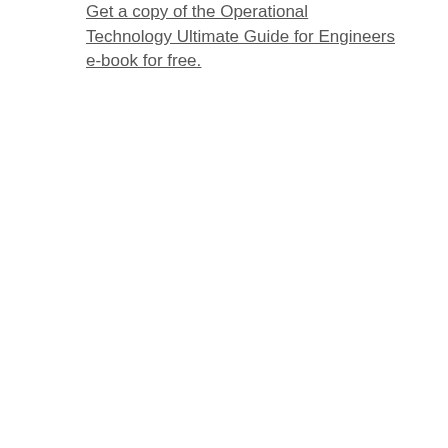Get a copy of the Operational Technology Ultimate Guide for Engineers e-book for free.